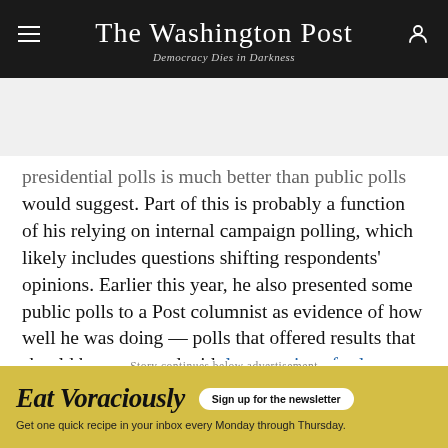The Washington Post — Democracy Dies in Darkness
presidential polls is much better than public polls would suggest. Part of this is probably a function of his relying on internal campaign polling, which likely includes questions shifting respondents' opinions. Earlier this year, he also presented some public polls to a Post columnist as evidence of how well he was doing — polls that offered results that should be consumed with large grains of salt.
Story continues below advertisement
[Figure (other): Advertisement banner for 'Eat Voraciously' newsletter with yellow background. Text reads: 'Eat Voraciously — Sign up for the newsletter — Get one quick recipe in your inbox every Monday through Thursday.']